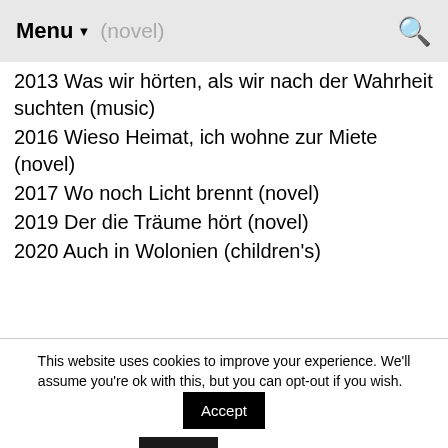Menu (novel)
2013 Was wir hörten, als wir nach der Wahrheit suchten (music)
2016 Wieso Heimat, ich wohne zur Miete (novel)
2017 Wo noch Licht brennt (novel)
2019 Der die Träume hört (novel)
2020 Auch in Wolonien (children's)
This website uses cookies to improve your experience. We'll assume you're ok with this, but you can opt-out if you wish. Accept Reject Read More